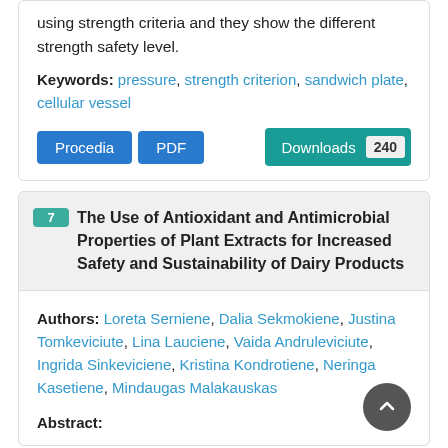using strength criteria and they show the different strength safety level.
Keywords: pressure, strength criterion, sandwich plate, cellular vessel
Procedia  PDF  Downloads 240
7 The Use of Antioxidant and Antimicrobial Properties of Plant Extracts for Increased Safety and Sustainability of Dairy Products
Authors: Loreta Serniene, Dalia Sekmokiene, Justina Tomkeviciute, Lina Lauciene, Vaida Andruleviciute, Ingrida Sinkeviciene, Kristina Kondrotiene, Neringa Kasetiene, Mindaugas Malakauskas
Abstract: